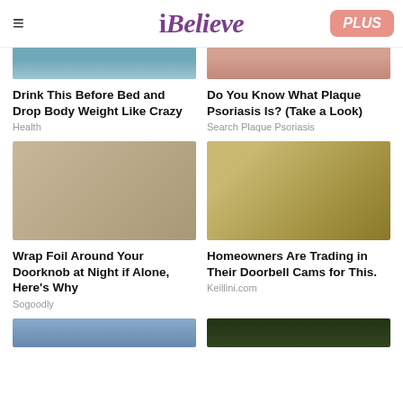iBelieve PLUS
[Figure (photo): Photo of a drink/beverage item (top cropped)]
[Figure (photo): Photo related to plaque psoriasis (top cropped, skin)]
Drink This Before Bed and Drop Body Weight Like Crazy
Do You Know What Plaque Psoriasis Is? (Take a Look)
Health
Search Plaque Psoriasis
[Figure (photo): Photo of a door knob wrapped in aluminum foil on a door]
[Figure (photo): Photo of a person installing or adjusting a security camera near an outdoor light fixture]
Wrap Foil Around Your Doorknob at Night if Alone, Here's Why
Homeowners Are Trading in Their Doorbell Cams for This.
Sogoodly
Keillini.com
[Figure (photo): Partial photo (blue tones) at bottom left]
[Figure (photo): Partial photo (dark green tones) at bottom right]